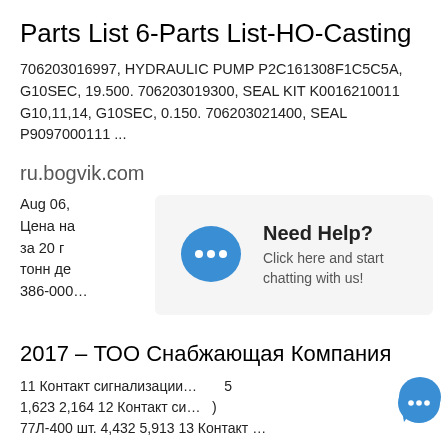Parts List 6-Parts List-HO-Casting
706203016997, HYDRAULIC PUMP P2C161308F1C5C5A, G10SEC, 19.500. 706203019300, SEAL KIT K0016210011 G10,11,14, G10SEC, 0.150. 706203021400, SEAL P9097000111 ...
ru.bogvik.com
Aug 06, ... но. Цена на ... США за 20 г... 27,5 тонн де... 14-386-000...
[Figure (other): Chat popup overlay: 'Need Help? Click here and start chatting with us!' with blue speech bubble icon]
2017 – ТОО Снабжающая Компания
11 Контакт сигнализации... 5 1,623 2,164 12 Контакт си... ) 77Л-400 шт. 4,432 5,913 13 Контакт ...
[Figure (other): Chat tooltip: 'Hey, we are live 24/7. How may I help you?' with blue chat button]